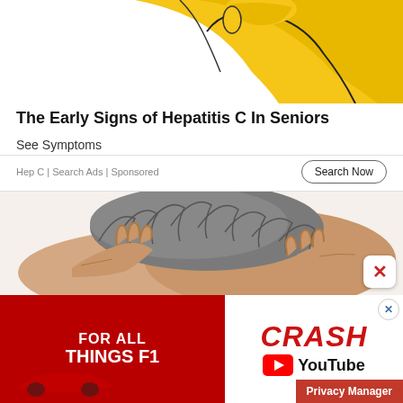[Figure (illustration): Cartoon yellow illustration of a person — partial body, upper region visible, with stylized line art style]
The Early Signs of Hepatitis C In Seniors
See Symptoms
Hep C | Search Ads | Sponsored
[Figure (photo): Elderly person scratching their grey hair with both hands, shown from behind, on white background]
[Figure (screenshot): Advertisement banner: red background left side with white text FOR ALL THINGS F1 and racing car image; right side white with red italic CRASH text and YouTube logo]